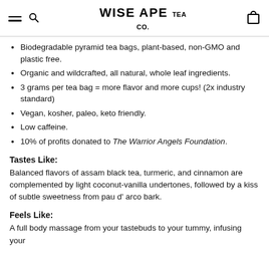WISE APE TEA CO.
Biodegradable pyramid tea bags, plant-based, non-GMO and plastic free.
Organic and wildcrafted, all natural, whole leaf ingredients.
3 grams per tea bag = more flavor and more cups! (2x industry standard)
Vegan, kosher, paleo, keto friendly.
Low caffeine.
10% of profits donated to The Warrior Angels Foundation.
Tastes Like:
Balanced flavors of assam black tea, turmeric, and cinnamon are complemented by light coconut-vanilla undertones, followed by a kiss of subtle sweetness from pau d' arco bark.
Feels Like:
A full body massage from your tastebuds to your tummy, infusing your